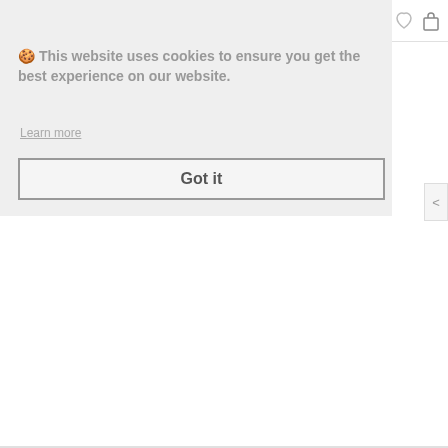hipgear navigation bar with hamburger menu, logo, user icon, heart icon, bag icon
[Figure (screenshot): Cookie consent overlay on a webpage. Shows text: 'This website uses cookies to ensure you get the best experience on our website. Learn more' with a 'Got it' button below. Behind the overlay, partially visible text reads 'Related Products' with a right-arrow navigation button. The bottom of the page has a horizontal divider line.]
🍪 This website uses cookies to ensure you get the best experience on our website.
Learn more
Got it
Related Products